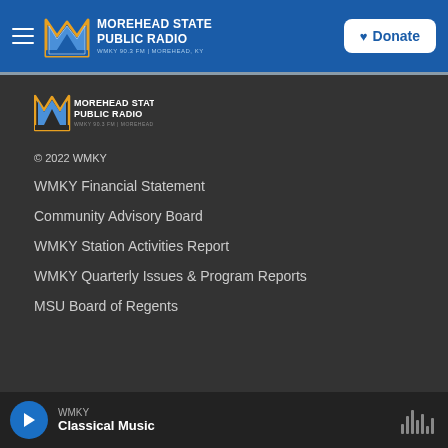Morehead State Public Radio — WMKY 90.3 FM | Morehead, KY — Donate
[Figure (logo): Morehead State Public Radio logo — blue M with WMKY 90.3 FM Morehead KY text]
© 2022 WMKY
WMKY Financial Statement
Community Advisory Board
WMKY Station Activities Report
WMKY Quarterly Issues & Program Reports
MSU Board of Regents
WMKY Classical Music (player bar)